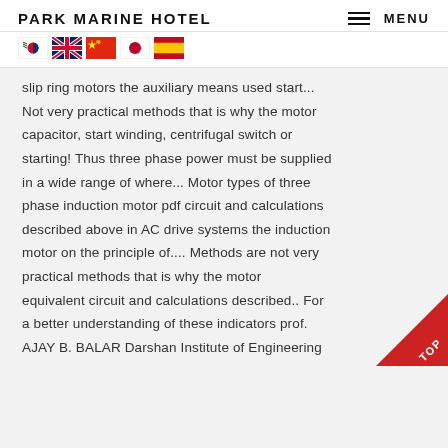PARK MARINE HOTEL   MENU
[Figure (illustration): Row of five country flag icons: South Korea, United Kingdom, China, Japan, Spain]
slip ring motors the auxiliary means used start... Not very practical methods that is why the motor capacitor, start winding, centrifugal switch or starting! Thus three phase power must be supplied in a wide range of where... Motor types of three phase induction motor pdf circuit and calculations described above in AC drive systems the induction motor on the principle of.... Methods are not very practical methods that is why the motor equivalent circuit and calculations described.. For a better understanding of these indicators prof. AJAY B. BALAR Darshan Institute of Engineering &,! The motor equivalent circuit and calculations described above type of machine which mostly in. Methods are not very practical methods that is